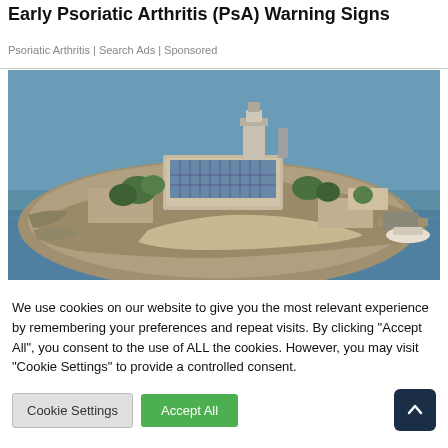Early Psoriatic Arthritis (PsA) Warning Signs
Psoriatic Arthritis | Search Ads | Sponsored
[Figure (photo): Aerial photograph of Alcatraz Island in San Francisco Bay, showing the main prison building with solar panels on the roof, surrounded by rocky terrain, trees, and blue-green water. A dock and boat are visible on the right side.]
We use cookies on our website to give you the most relevant experience by remembering your preferences and repeat visits. By clicking "Accept All", you consent to the use of ALL the cookies. However, you may visit "Cookie Settings" to provide a controlled consent.